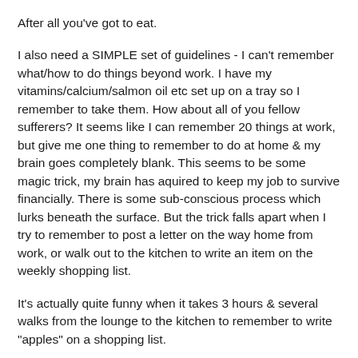After all you've got to eat.
I also need a SIMPLE set of guidelines - I can't remember what/how to do things beyond work. I have my vitamins/calcium/salmon oil etc set up on a tray so I remember to take them. How about all of you fellow sufferers? It seems like I can remember 20 things at work, but give me one thing to remember to do at home & my brain goes completely blank. This seems to be some magic trick, my brain has aquired to keep my job to survive financially. There is some sub-conscious process which lurks beneath the surface. But the trick falls apart when I try to remember to post a letter on the way home from work, or walk out to the kitchen to write an item on the weekly shopping list.
It's actually quite funny when it takes 3 hours & several walks from the lounge to the kitchen to remember to write "apples" on a shopping list.
(But I can do a complex account reconciliation at work - figure that one out. Like I said, it's a magic trick my brain has learnt